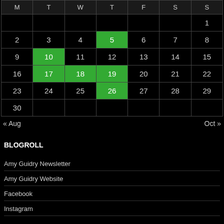| M | T | W | T | F | S | S |
| --- | --- | --- | --- | --- | --- | --- |
|  |  |  |  |  |  | 1 |
| 2 | 3 | 4 | 5* | 6 | 7 | 8 |
| 9 | 10* | 11 | 12 | 13 | 14 | 15 |
| 16 | 17* | 18* | 19* | 20 | 21 | 22 |
| 23 | 24 | 25 | 26* | 27 | 28 | 29 |
| 30 |  |  |  |  |  |  |
« Aug    Oct »
BLOGROLL
Amy Guidry Newsletter
Amy Guidry Website
Facebook
Instagram